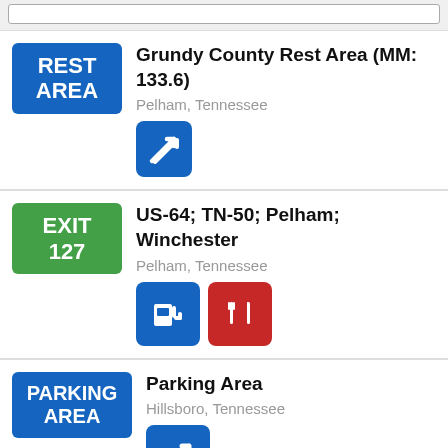REST AREA — Grundy County Rest Area (MM: 133.6) — Pelham, Tennessee
EXIT 127 — US-64; TN-50; Pelham; Winchester — Pelham, Tennessee
PARKING AREA — Parking Area — Hillsboro, Tennessee